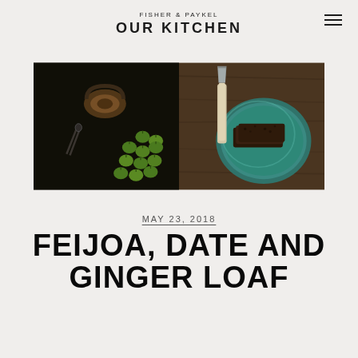FISHER & PAYKEL
OUR KITCHEN
[Figure (photo): Two side-by-side food photography images: left shows feijoas (green oval fruits) scattered on a dark background with scissors and a spool of twine; right shows slices of dark loaf cake on a teal ceramic plate with a knife on a wooden surface.]
MAY 23, 2018
FEIJOA, DATE AND GINGER LOAF